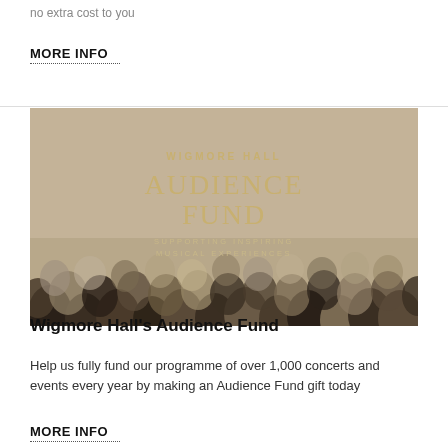no extra cost to you
MORE INFO
[Figure (photo): Wigmore Hall Audience Fund promotional image showing a crowd of audience members from behind with text overlay reading 'WIGMORE HALL AUDIENCE FUND SUPPORTING INSPIRING MUSICAL EXPERIENCES']
Wigmore Hall's Audience Fund
Help us fully fund our programme of over 1,000 concerts and events every year by making an Audience Fund gift today
MORE INFO